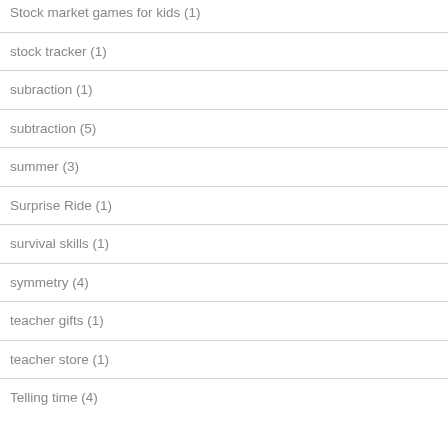Stock market games for kids (1)
stock tracker (1)
subraction (1)
subtraction (5)
summer (3)
Surprise Ride (1)
survival skills (1)
symmetry (4)
teacher gifts (1)
teacher store (1)
Telling time (4)